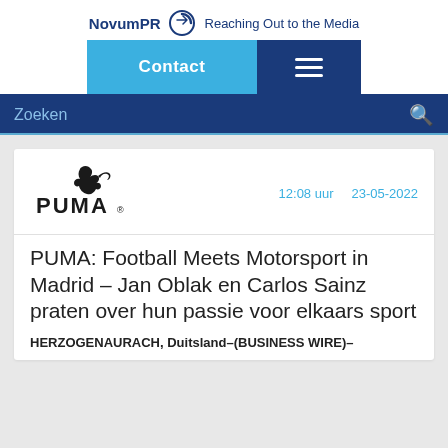NovumPR – Reaching Out to the Media
Contact
Zoeken
[Figure (logo): PUMA brand logo with leaping cat silhouette]
12:08 uur   23-05-2022
PUMA: Football Meets Motorsport in Madrid – Jan Oblak en Carlos Sainz praten over hun passie voor elkaars sport
HERZOGENAURACH, Duitsland–(BUSINESS WIRE)–